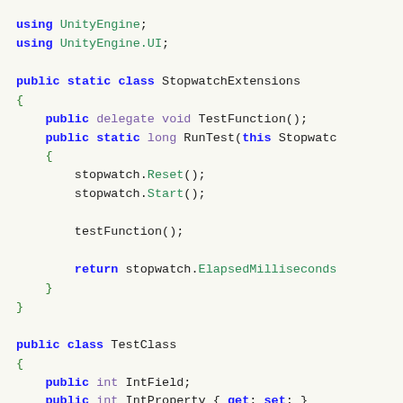using UnityEngine;
using UnityEngine.UI;

public static class StopwatchExtensions
{
    public delegate void TestFunction();
    public static long RunTest(this Stopwatch
    {
        stopwatch.Reset();
        stopwatch.Start();

        testFunction();

        return stopwatch.ElapsedMilliseconds
    }
}

public class TestClass
{
    public int IntField;
    public int IntProperty { get; set; }
    public void VoidMethod() { }